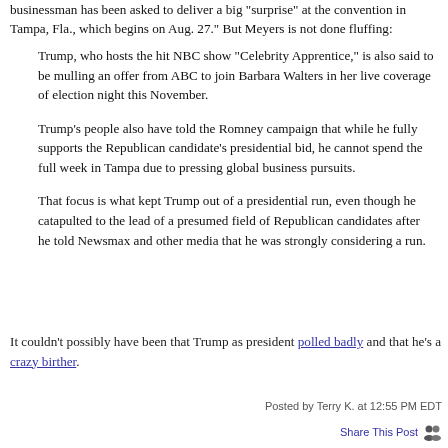businessman has been asked to deliver a big "surprise" at the convention in Tampa, Fla., which begins on Aug. 27." But Meyers is not done fluffing:
Trump, who hosts the hit NBC show "Celebrity Apprentice," is also said to be mulling an offer from ABC to join Barbara Walters in her live coverage of election night this November.
Trump’s people also have told the Romney campaign that while he fully supports the Republican candidate’s presidential bid, he cannot spend the full week in Tampa due to pressing global business pursuits.
That focus is what kept Trump out of a presidential run, even though he catapulted to the lead of a presumed field of Republican candidates after he told Newsmax and other media that he was strongly considering a run.
It couldn't possibly have been that Trump as president polled badly and that he's a crazy birther.
Posted by Terry K. at 12:55 PM EDT